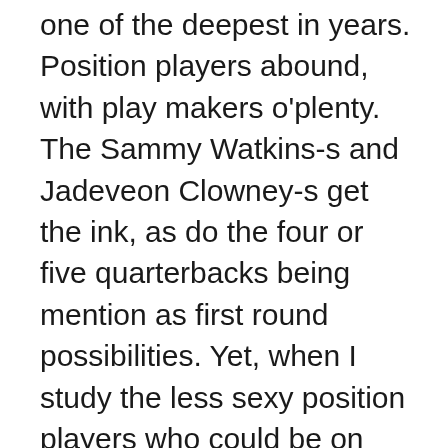one of the deepest in years. Position players abound, with play makers o'plenty. The Sammy Watkins-s and Jadeveon Clowney-s get the ink, as do the four or five quarterbacks being mention as first round possibilities. Yet, when I study the less sexy position players who could be on the Rams' radar, most will be found in round two. Which lends me to wonder if this could be a first round re-do of what they did in 2013? They grabbed high profile Tavon Austin, and filled a need at outside linebacker with Alec Ogletree in the first round. But they didn't have a second rounder in 2013 due to the trade up to get Austin. This year, I think they'll be in a different position. In a variety of draft day scenarios, the Rams trade the #2 pick. Fans will be hoping for another RGIII-esk draft pick hoard, which includes at least a 2015 first rounder. I'm thinking along a different line; one that has Snead and Fisher moving all-in for